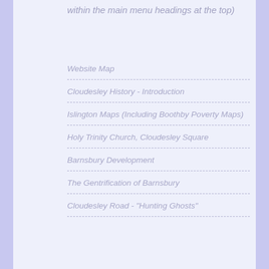within the main menu headings at the top)
Website Map
Cloudesley History - Introduction
Islington Maps (Including Boothby Poverty Maps)
Holy Trinity Church, Cloudesley Square
Barnsbury Development
The Gentrification of Barnsbury
Cloudesley Road - "Hunting Ghosts"